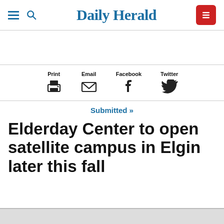Daily Herald
[Figure (screenshot): Share toolbar with Print, Email, Facebook, Twitter icons]
Submitted »
Elderday Center to open satellite campus in Elgin later this fall
[Figure (photo): Bottom edge of a photo strip, partially visible at the bottom of the page]